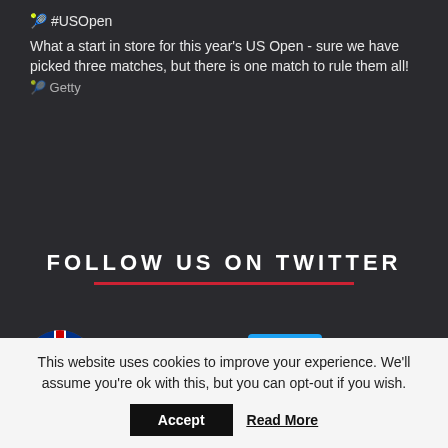🎾 #USOpen
What a start in store for this year's US Open - sure we have picked three matches, but there is one match to rule them all!
🎾 Getty
FOLLOW US ON TWITTER
[Figure (logo): Circular UK flag logo with running figure, representing britwatchsports Twitter profile avatar]
britwatchsports  Follow
🐦 31,965  👤 3,894
Sports in general, Brits in particular, Founded by
This website uses cookies to improve your experience. We'll assume you're ok with this, but you can opt-out if you wish.
Accept  Read More